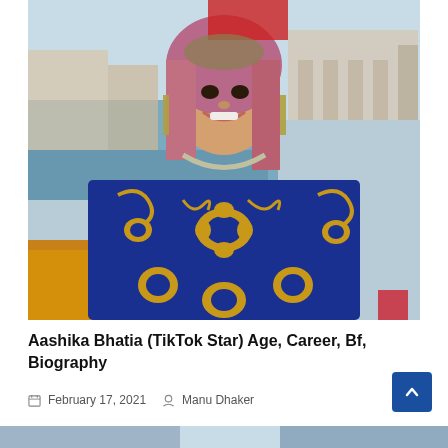[Figure (photo): Young woman wearing a royal blue embroidered outfit with gold sequin floral patterns and traditional jewelry including large earrings and a necklace, with red dupatta/scarf, smiling, seated near a lake or river with buildings in the background.]
Aashika Bhatia (TikTok Star) Age, Career, Bf, Biography
February 17, 2021   Manu Dhaker
[Figure (photo): Partial preview of another photo at the bottom of the page.]